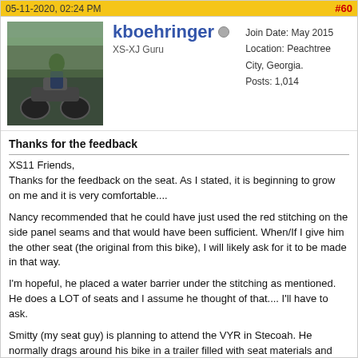05-11-2020, 02:24 PM  #60
[Figure (photo): Avatar photo of user kboehringer on a motorcycle]
kboehringer
XS-XJ Guru
Join Date: May 2015
Location: Peachtree City, Georgia.
Posts: 1,014
Thanks for the feedback
XS11 Friends,
Thanks for the feedback on the seat. As I stated, it is beginning to grow on me and it is very comfortable....

Nancy recommended that he could have just used the red stitching on the side panel seams and that would have been sufficient. When/If I give him the other seat (the original from this bike), I will likely ask for it to be made in that way.

I'm hopeful, he placed a water barrier under the stitching as mentioned. He does a LOT of seats and I assume he thought of that.... I'll have to ask.

Smitty (my seat guy) is planning to attend the VYR in Stecoah. He normally drags around his bike in a trailer filled with seat materials and sewing machines. Although I encouraged him to come and enjoy the weekend with our group as a rider & friend (even if he is on a HD 😁 ), he may end up bringing his work trailer and could do some great work in short order.....

Thanks again,
KURT (& Nancy)